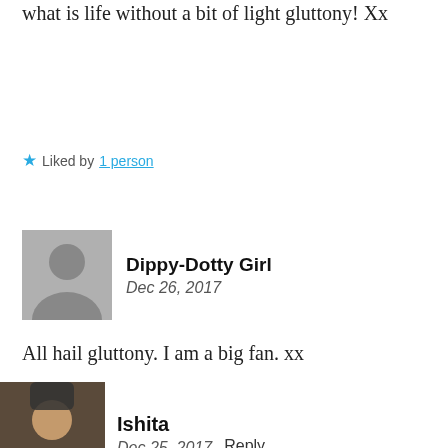what is life without a bit of light gluttony! Xx
★ Liked by 1 person
Dippy-Dotty Girl
Dec 26, 2017
All hail gluttony. I am a big fan. xx
★ Liked by 1 person
Ishita
Dec 25, 2017   Reply